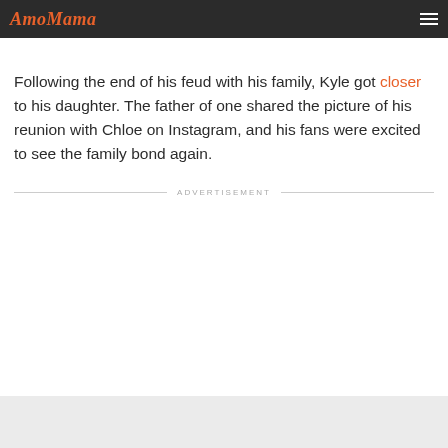AmoMama
Following the end of his feud with his family, Kyle got closer to his daughter. The father of one shared the picture of his reunion with Chloe on Instagram, and his fans were excited to see the family bond again.
ADVERTISEMENT